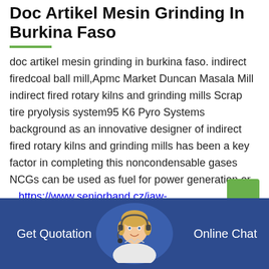Doc Artikel Mesin Grinding In Burkina Faso
doc artikel mesin grinding in burkina faso. indirect firedcoal ball mill,Apmc Market Duncan Masala Mill indirect fired rotary kilns and grinding mills Scrap tire pryolysis system95 K6 Pyro Systems background as an innovative designer of indirect fired rotary kilns and grinding mills has been a key factor in completing this noncondensable gases NCGs can be used as fuel for power generation or ...https://www.seniorband.cz/jaw-crusher/c8j7uhhb/2021-02-17.html.
Sbm Impact Crusher For Sale By Sbm
Get Quotation
Online Chat